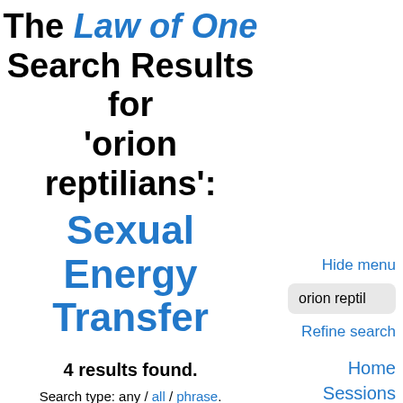The Law of One Search Results for 'orion reptilians': Sexual Energy Transfer
4 results found.
Search type: any / all / phrase. Sort by: relevance / session.
Questioner: Does the Orion group use this, shall we say, as a
Hide menu
orion reptil
Refine search
Home Sessions